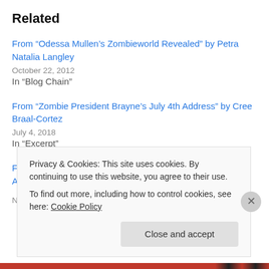Related
From “Odessa Mullen’s Zombieworld Revealed” by Petra Natalia Langley
October 22, 2012
In "Blog Chain"
From “Zombie President Brayne’s July 4th Address” by Cree Braal-Cortez
July 4, 2018
In "Excerpt"
From “Coming Soon to a PetStation Near You!” by Brittny-Anne Aria
November 6, 2018...
Privacy & Cookies: This site uses cookies. By continuing to use this website, you agree to their use.
To find out more, including how to control cookies, see here: Cookie Policy
Close and accept